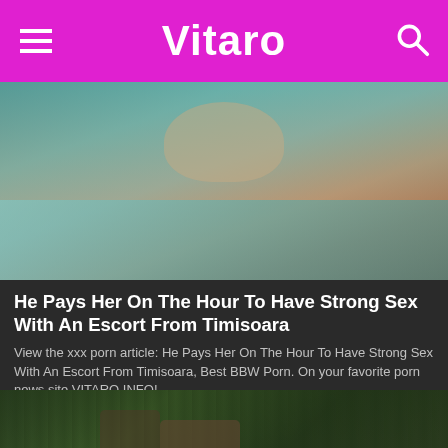Vitaro
[Figure (photo): Photo of a woman on a bed with teal/turquoise bedding]
He Pays Her On The Hour To Have Strong Sex With An Escort From Timisoara
View the xxx porn article: He Pays Her On The Hour To Have Strong Sex With An Escort From Timisoara, Best BBW Porn. On your favorite porn news site VITARO.INFO!
0 Views · Likes 0
[Figure (photo): Photo of people outdoors in a forest setting]